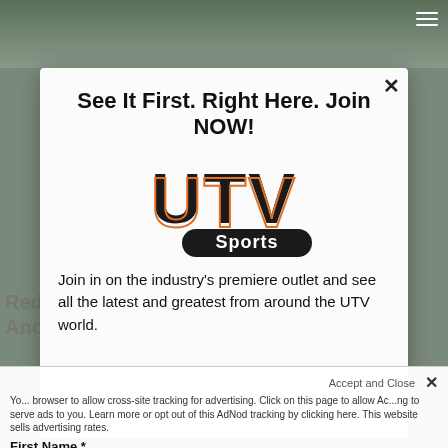[Figure (screenshot): Background photo of UTVs/side-by-side vehicles parked near a building with green roof, partially obscured by modal overlay]
See It First. Right Here. Join NOW!
[Figure (logo): UTV Sports logo — large bold block letters 'UTV' with 'Sports' in a rounded badge below]
Join in on the industry's premiere outlet and see all the latest and greatest from around the UTV world.
Red Bull Mountain Motocross Returns For Another Epic Year...
Yo... browser to allow cross-site tracking for advertising. Click on this page to allow Ac... ng to serve ads to you. Learn more or opt out of this AdNod tracking by clicking here. This website sells advertising rates. Accept and Close
First Name *
Enter first name